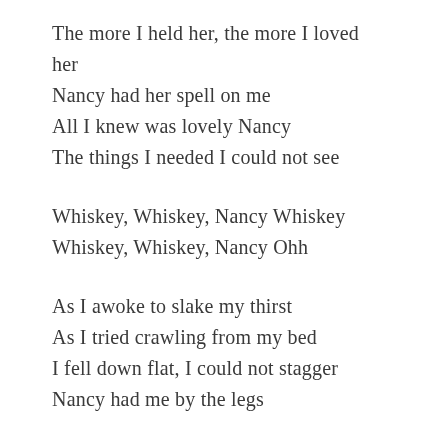The more I held her, the more I loved her
Nancy had her spell on me
All I knew was lovely Nancy
The things I needed I could not see
Whiskey, Whiskey, Nancy Whiskey
Whiskey, Whiskey, Nancy Ohh
As I awoke to slake my thirst
As I tried crawling from my bed
I fell down flat, I could not stagger
Nancy had me by the legs
Whiskey, Whiskey, Nancy Whiskey